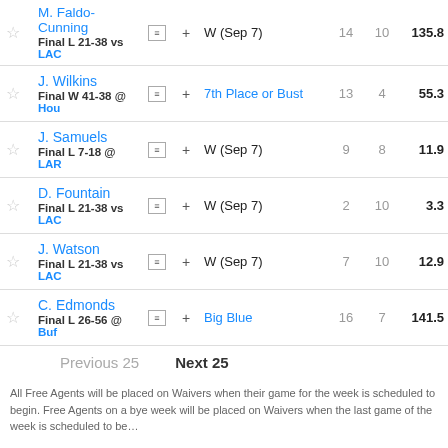|  | Player |  |  | Opponent | Rank | Max | Pts |
| --- | --- | --- | --- | --- | --- | --- | --- |
| ★ | M. Faldo-Cunning / Final L 21-38 vs LAC | ≡ | + | W (Sep 7) | 14 | 10 | 135.8 |
| ★ | J. Wilkins / Final W 41-38 @ Hou | ≡ | + | 7th Place or Bust | 13 | 4 | 55.3 |
| ★ | J. Samuels / Final L 7-18 @ LAR | ≡ | + | W (Sep 7) | 9 | 8 | 11.9 |
| ★ | D. Fountain / Final L 21-38 vs LAC | ≡ | + | W (Sep 7) | 2 | 10 | 3.3 |
| ★ | J. Watson / Final L 21-38 vs LAC | ≡ | + | W (Sep 7) | 7 | 10 | 12.9 |
| ★ | C. Edmonds / Final L 26-56 @ Buf | ≡ | + | Big Blue | 16 | 7 | 141.5 |
Previous 25   Next 25
All Free Agents will be placed on Waivers when their game for the week is scheduled to begin. Free Agents on a bye week will be placed on Waivers when the last game of the week is scheduled to begin.
Legend   Stats   Positions